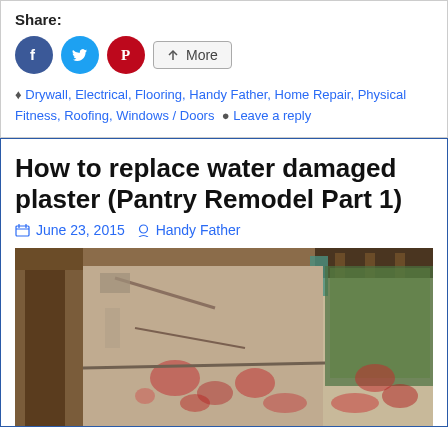Share:
[Figure (other): Social share buttons: Facebook (blue circle), Twitter (cyan circle), Pinterest (red circle), and a More button]
Drywall, Electrical, Flooring, Handy Father, Home Repair, Physical Fitness, Roofing, Windows / Doors  Leave a reply
How to replace water damaged plaster (Pantry Remodel Part 1)
June 23, 2015  Handy Father
[Figure (photo): Interior photo of a damaged pantry room showing water-damaged plaster walls with peeling paint, exposed lath, and red stains on walls. A wood-framed door or window is visible on the left. Ceiling shows damage with exposed rafters.]